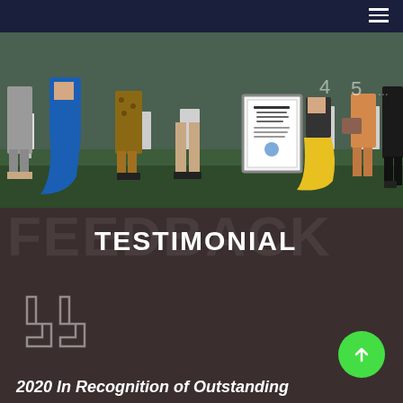Navigation bar with hamburger menu
[Figure (photo): Group photo of people seated in white chairs outdoors on grass, dressed in formal/semi-formal attire including blue dress, leopard print, yellow skirt; a framed certificate/award is visible in the center.]
TESTIMONIAL
[Figure (illustration): Large decorative opening quotation marks in outline style]
2020 In Recognition of Outstanding